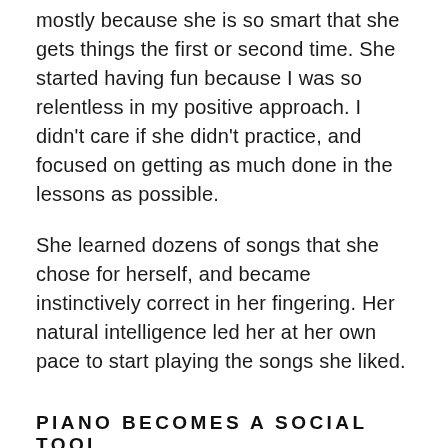mostly because she is so smart that she gets things the first or second time. She started having fun because I was so relentless in my positive approach. I didn't care if she didn't practice, and focused on getting as much done in the lessons as possible.
She learned dozens of songs that she chose for herself, and became instinctively correct in her fingering. Her natural intelligence led her at her own pace to start playing the songs she liked.
PIANO BECOMES A SOCIAL TOOL
But here's what her Mom said to me, that